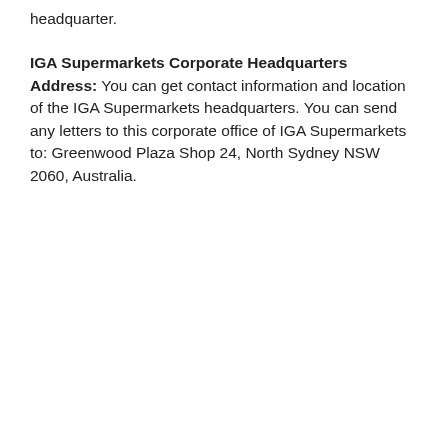headquarter.
IGA Supermarkets Corporate Headquarters Address: You can get contact information and location of the IGA Supermarkets headquarters. You can send any letters to this corporate office of IGA Supermarkets to: Greenwood Plaza Shop 24, North Sydney NSW 2060, Australia.